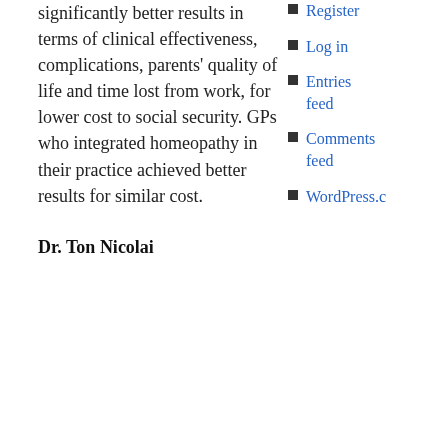significantly better results in terms of clinical effectiveness, complications, parents' quality of life and time lost from work, for lower cost to social security. GPs who integrated homeopathy in their practice achieved better results for similar cost.
Dr. Ton Nicolai
Register
Log in
Entries feed
Comments feed
WordPress.c